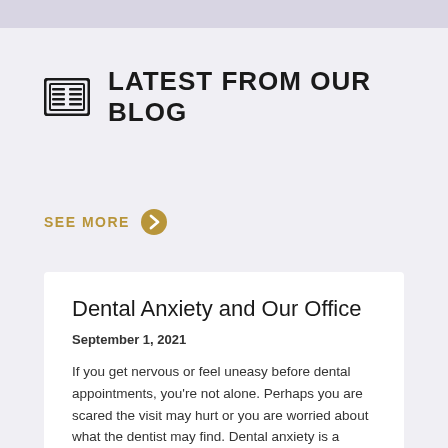LATEST FROM OUR BLOG
SEE MORE
Dental Anxiety and Our Office
September 1, 2021
If you get nervous or feel uneasy before dental appointments, you're not alone. Perhaps you are scared the visit may hurt or you are worried about what the dentist may find. Dental anxiety is a common mental health